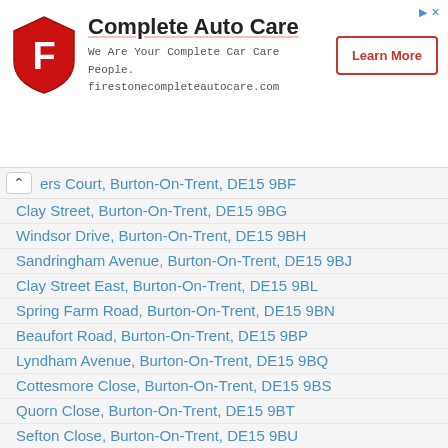[Figure (other): Firestone Complete Auto Care advertisement banner with logo, tagline, website URL, and Learn More button]
ers Court, Burton-On-Trent, DE15 9BF
Clay Street, Burton-On-Trent, DE15 9BG
Windsor Drive, Burton-On-Trent, DE15 9BH
Sandringham Avenue, Burton-On-Trent, DE15 9BJ
Clay Street East, Burton-On-Trent, DE15 9BL
Spring Farm Road, Burton-On-Trent, DE15 9BN
Beaufort Road, Burton-On-Trent, DE15 9BP
Lyndham Avenue, Burton-On-Trent, DE15 9BQ
Cottesmore Close, Burton-On-Trent, DE15 9BS
Quorn Close, Burton-On-Trent, DE15 9BT
Sefton Close, Burton-On-Trent, DE15 9BU
Grafton Road, Burton-On-Trent, DE15 9BW (No Longer In Use)